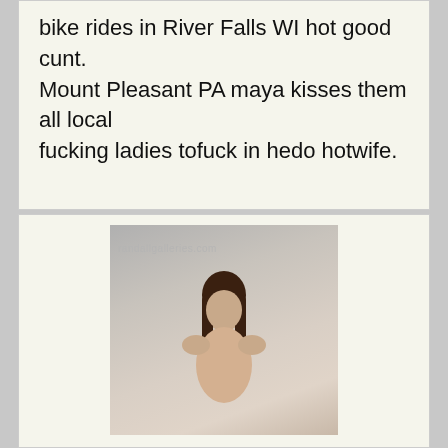bike rides in River Falls WI hot good cunt.

Mount Pleasant PA maya kisses them all local

fucking ladies tofuck in hedo hotwife.
[Figure (photo): Photo of a young woman with long dark hair, watermarked with randallgalleries.com]